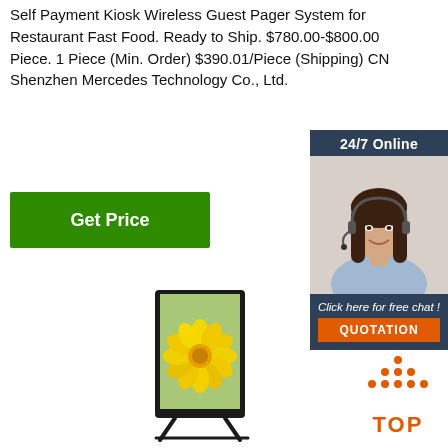Self Payment Kiosk Wireless Guest Pager System for Restaurant Fast Food. Ready to Ship. $780.00-$800.00 Piece. 1 Piece (Min. Order) $390.01/Piece (Shipping) CN Shenzhen Mercedes Technology Co., Ltd.
Get Price
[Figure (photo): Chat support banner with '24/7 Online' header, photo of female customer support agent wearing headset and smiling, 'Click here for free chat!' text, and orange QUOTATION button]
[Figure (photo): Self-payment kiosk / digital signage display unit — tall portrait-orientation screen in a black floor-standing frame showing a yellow flower image on screen]
[Figure (other): TOP button icon with orange dots arranged in triangle above orange TOP text]